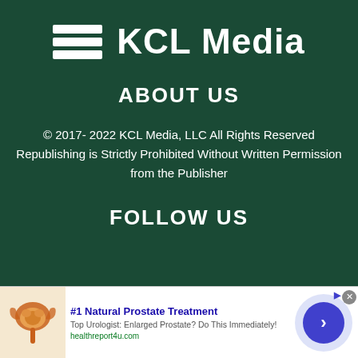[Figure (logo): KCL Media logo with stacked white horizontal bars icon on dark green background followed by 'KCL Media' text in white]
ABOUT US
© 2017- 2022 KCL Media, LLC All Rights Reserved Republishing is Strictly Prohibited Without Written Permission from the Publisher
FOLLOW US
[Figure (screenshot): Advertisement banner: '#1 Natural Prostate Treatment' with prostate anatomy illustration on left, text 'Top Urologist: Enlarged Prostate? Do This Immediately!' and 'healthreport4u.com', blue arrow circle button on right]